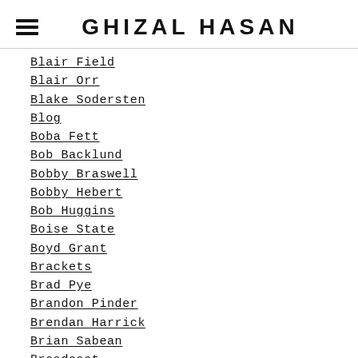GHIZAL HASAN
Blair Field
Blair Orr
Blake Sodersten
Blog
Boba Fett
Bob Backlund
Bobby Braswell
Bobby Hebert
Bob Huggins
Boise State
Boyd Grant
Brackets
Brad Pye
Brandon Pinder
Brendan Harrick
Brian Sabean
Broadcast
Broadcaster